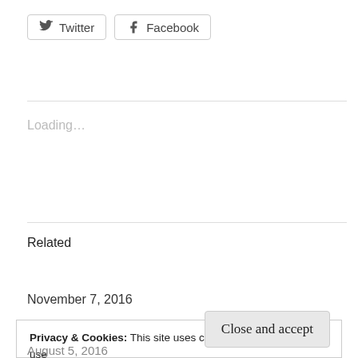[Figure (other): Social share buttons: Twitter and Facebook]
Loading...
Related
Ports. Vom Recht auf Meer.
November 7, 2016
Privacy & Cookies: This site uses cookies. By continuing to use this website, you agree to their use.
To find out more, including how to control cookies, see here:
Cookie Policy
Close and accept
August 5, 2016